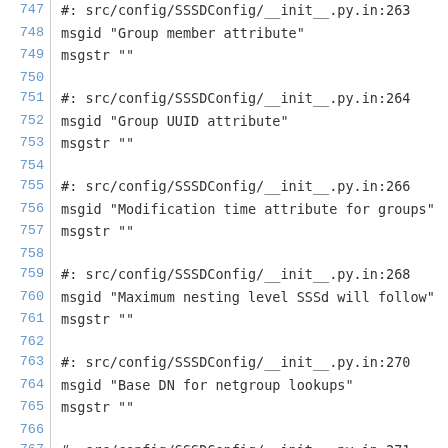747  #: src/config/SSSDConfig/__init__.py.in:263
748  msgid "Group member attribute"
749  msgstr ""
750
751  #: src/config/SSSDConfig/__init__.py.in:264
752  msgid "Group UUID attribute"
753  msgstr ""
754
755  #: src/config/SSSDConfig/__init__.py.in:266
756  msgid "Modification time attribute for groups"
757  msgstr ""
758
759  #: src/config/SSSDConfig/__init__.py.in:268
760  msgid "Maximum nesting level SSSd will follow"
761  msgstr ""
762
763  #: src/config/SSSDConfig/__init__.py.in:270
764  msgid "Base DN for netgroup lookups"
765  msgstr ""
766
767  #: src/config/SSSDConfig/__init__.py.in:271
768  msgid "Objectclass for netgroups"
769  msgstr ""
770